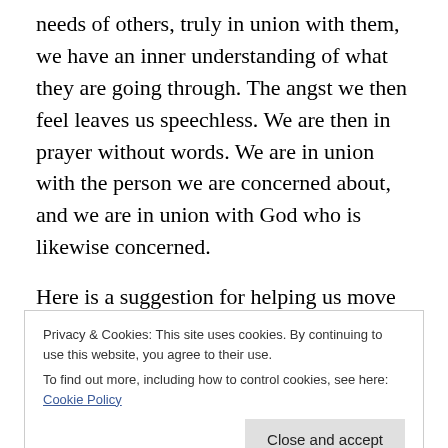needs of others, truly in union with them, we have an inner understanding of what they are going through. The angst we then feel leaves us speechless. We are then in prayer without words. We are in union with the person we are concerned about, and we are in union with God who is likewise concerned.
Here is a suggestion for helping us move into this speechless prayer. If we are depressed, call to mind that others at that moment are also depressed. Just be one with them in spirit, as God is one with them. We are not
Privacy & Cookies: This site uses cookies. By continuing to use this website, you agree to their use.
To find out more, including how to control cookies, see here: Cookie Policy
alone. We do not need to know these people personally